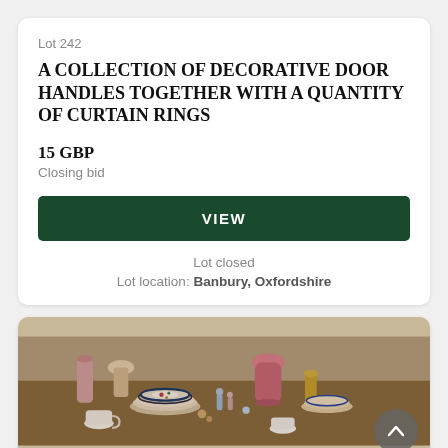Lot 242
A COLLECTION OF DECORATIVE DOOR HANDLES TOGETHER WITH A QUANTITY OF CURTAIN RINGS
15 GBP
Closing bid
VIEW
Lot closed
Lot location: Banbury, Oxfordshire
[Figure (photo): A cluttered collection of decorative porcelain and ceramic items including plates, cups, vases, and figurines displayed on a table.]